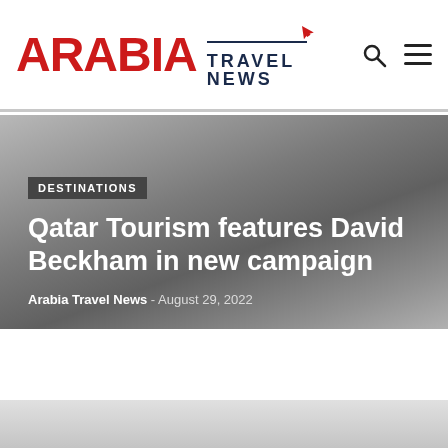ARABIA TRAVEL NEWS
DESTINATIONS
Qatar Tourism features David Beckham in new campaign
Arabia Travel News - August 29, 2022